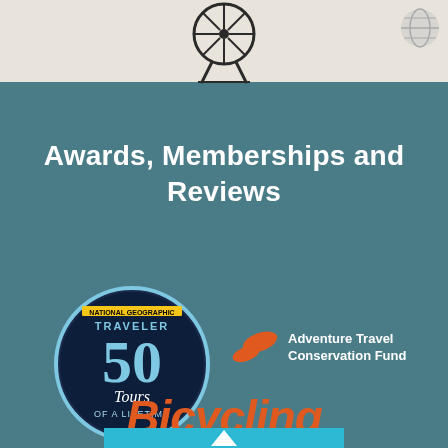[Figure (logo): Bicycle wheel / compass icon in dark silhouette at top center]
[Figure (logo): Globe icon at top right corner]
Awards, Memberships and Reviews
[Figure (logo): National Geographic Traveler 50 Tours of a Lifetime badge - circular dark badge with '50 Tours of a Lifetime' text]
[Figure (logo): Adventure Travel Conservation Fund logo - orange leaf/bird shapes with white text]
[Figure (logo): Bicycling magazine logo in orange italic bold text]
[Figure (logo): Partial blue bar at bottom with white mountain/logo shape]